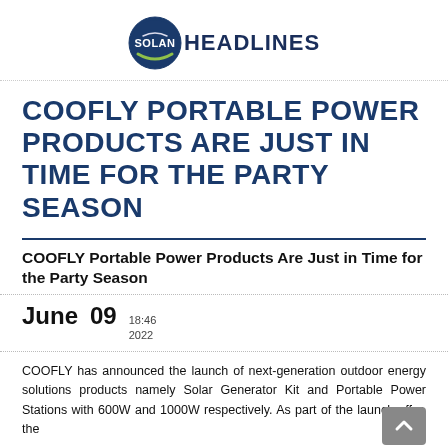SOLAN HEADLINES
COOFLY PORTABLE POWER PRODUCTS ARE JUST IN TIME FOR THE PARTY SEASON
COOFLY Portable Power Products Are Just in Time for the Party Season
June 09  18:46 2022
COOFLY has announced the launch of next-generation outdoor energy solutions products namely Solar Generator Kit and Portable Power Stations with 600W and 1000W respectively. As part of the launch offer, the